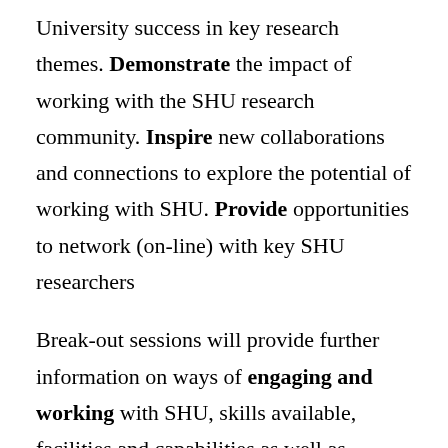University success in key research themes. Demonstrate the impact of working with the SHU research community. Inspire new collaborations and connections to explore the potential of working with SHU. Provide opportunities to network (on-line) with key SHU researchers
Break-out sessions will provide further information on ways of engaging and working with SHU, skills available, facilities and capabilities as well as funding